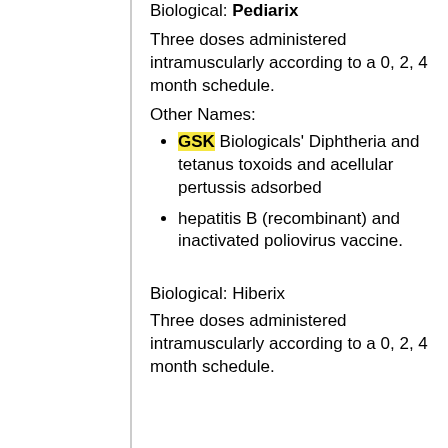Biological: Pediarix
Three doses administered intramuscularly according to a 0, 2, 4 month schedule.
Other Names:
GSK Biologicals' Diphtheria and tetanus toxoids and acellular pertussis adsorbed
hepatitis B (recombinant) and inactivated poliovirus vaccine.
Biological: Hiberix
Three doses administered intramuscularly according to a 0, 2, 4 month schedule.